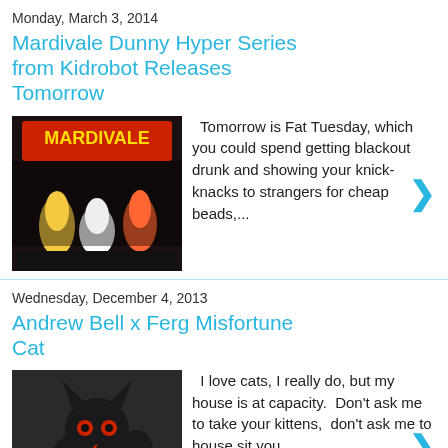Monday, March 3, 2014
Mardivale Dunny Hyper Series from Kidrobot Releases Tomorrow
Tomorrow is Fat Tuesday, which you could spend getting blackout drunk and showing your knick-knacks to strangers for cheap beads,...
Wednesday, December 4, 2013
Andrew Bell x Ferg Misfortune Cat
I love cats, I really do, but my house is at capacity.  Don't ask me to take your kittens,  don't ask me to house sit you...
Wednesday, October 2, 2013
Even More NYCC Exclusives